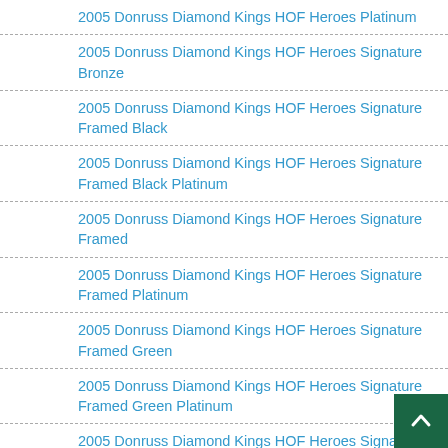2005 Donruss Diamond Kings HOF Heroes Platinum
2005 Donruss Diamond Kings HOF Heroes Signature Bronze
2005 Donruss Diamond Kings HOF Heroes Signature Framed Black
2005 Donruss Diamond Kings HOF Heroes Signature Framed Black Platinum
2005 Donruss Diamond Kings HOF Heroes Signature Framed
2005 Donruss Diamond Kings HOF Heroes Signature Framed Platinum
2005 Donruss Diamond Kings HOF Heroes Signature Framed Green
2005 Donruss Diamond Kings HOF Heroes Signature Framed Green Platinum
2005 Donruss Diamond Kings HOF Heroes Signature Framed Red